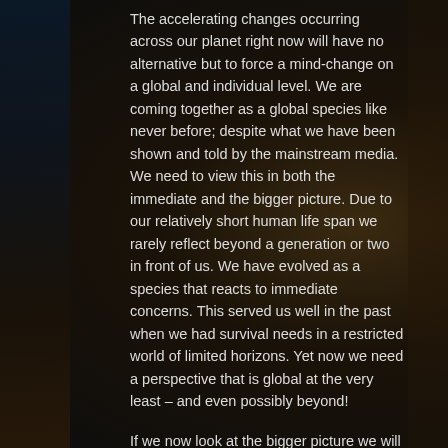The accelerating changes occurring across our planet right now will have no alternative but to force a mind-change on a global and individual level. We are coming together as a global species like never before; despite what we have been shown and told by the mainstream media. We need to view this in both the immediate and the bigger picture. Due to our relatively short human life span we rarely reflect beyond a generation or two in front of us. We have evolved as a species that reacts to immediate concerns. This served us well in the past when we had survival needs in a restricted world of limited horizons. Yet now we need a perspective that is global at the very least – and even possibly beyond!
If we now look at the bigger picture we will see that a different type of consciousness has been emerging over the past 150 years. That is, since the dawn of the Second Industrial Revolution. The new technologies of the Second Industrial Revolution – the telephone, radar, cinema, automobile and airplane – called for a new reorientation of human perspective. A new perception of the dimensions